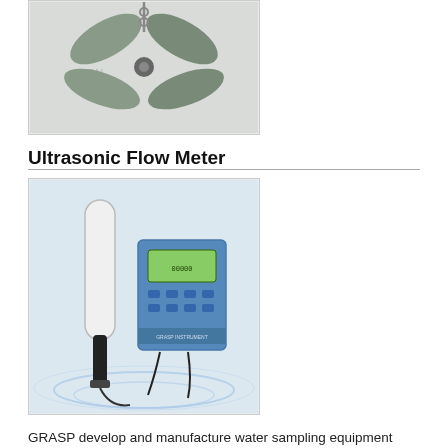[Figure (photo): Photo of a propeller/rotor type water current meter with metal blades, hanging by a chain, with a watermark logo in background.]
Ultrasonic Flow Meter
[Figure (photo): Photo of an ultrasonic flow meter device showing a tall white/black sensor probe and a blue electronic controller/display unit with LCD screen and buttons, mounted setup with cables.]
GRASP develop and manufacture water sampling equipment since the 1990s, to collect water sample for the next water testing and analysis process. The range of water sampling includes the drinking water sampling, groundwater sampling, river water, lake water and seawater sampling, as well as sewage and wastewater sampling for environmental protection. As we have passed the